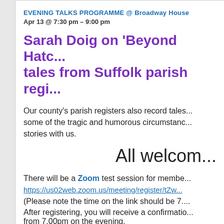EVENING TALKS PROGRAMME @ Broadway House
Apr 13 @ 7:30 pm – 9:00 pm
Sarah Doig on 'Beyond Hatc... tales from Suffolk parish regi...
Our county's parish registers also record tales... some of the tragic and humorous circumstanc... stories with us.
All welcom...
There will be a Zoom test session for membe... https://us02web.zoom.us/meeting/register/tZw...
(Please note the time on the link should be 7....
After registering, you will receive a confirmatio... from 7.00pm on the evening.